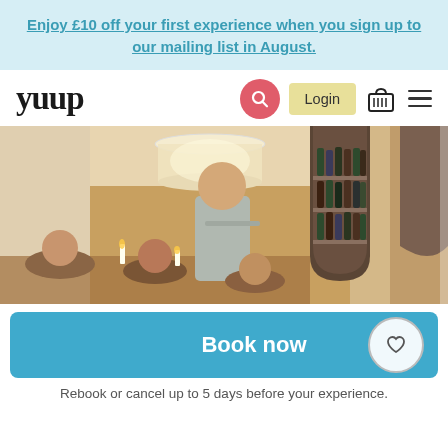Enjoy £10 off your first experience when you sign up to our mailing list in August.
[Figure (logo): yuup logo in bold serif font]
[Figure (photo): People at a wine tasting event inside a restaurant with wine bottles on shelves in an arched niche; a man in a grey t-shirt pours wine while people sit around a table with candles]
Book now
Rebook or cancel up to 5 days before your experience.